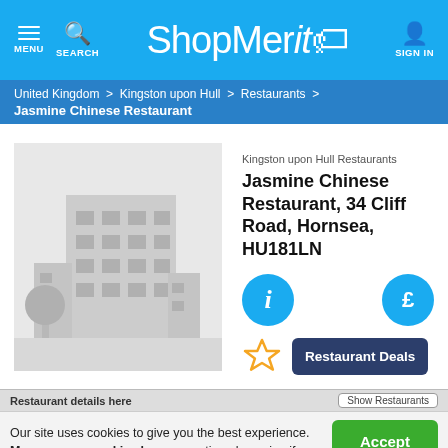ShopMerit — MENU SEARCH SIGN IN
United Kingdom > Kingston upon Hull > Restaurants > Jasmine Chinese Restaurant
[Figure (illustration): Building placeholder icon — a grey multi-story office/restaurant building with windows and a tree]
Kingston upon Hull Restaurants
Jasmine Chinese Restaurant, 34 Cliff Road, Hornsea, HU181LN
Restaurant Deals
Our site uses cookies to give you the best experience. Manage your cookies here or continue browsing if you're happy.
Accept & close